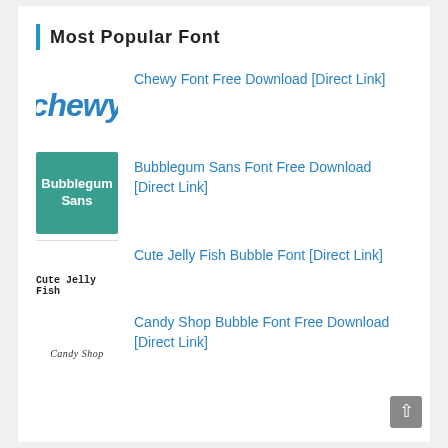Most Popular Font
Chewy Font Free Download [Direct Link]
Bubblegum Sans Font Free Download [Direct Link]
Cute Jelly Fish Bubble Font [Direct Link]
Candy Shop Bubble Font Free Download [Direct Link]